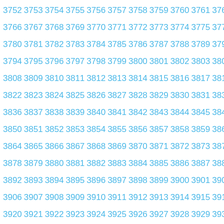3752 3753 3754 3755 3756 3757 3758 3759 3760 3761 3762... (grid of numbers from 3752 to ~3999+)